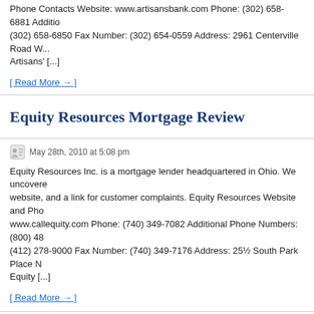Phone Contacts Website: www.artisansbank.com Phone: (302) 658-6881 Additional Phone Numbers: (302) 658-6850 Fax Number: (302) 654-0559 Address: 2961 Centerville Road W... Artisans' [...]
[ Read More → ]
Equity Resources Mortgage Review
May 28th, 2010 at 5:08 pm
Equity Resources Inc. is a mortgage lender headquartered in Ohio. We uncovered... website, and a link for customer complaints. Equity Resources Website and Pho... www.callequity.com Phone: (740) 349-7082 Additional Phone Numbers: (800) 48... (412) 278-9000 Fax Number: (740) 349-7176 Address: 25½ South Park Place N... Equity [...]
[ Read More → ]
Carver Federal Savings Bank Mortgage Review
May 27th, 2010 at 5:25 pm